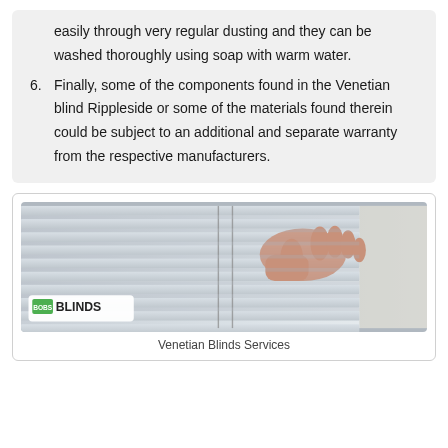easily through very regular dusting and they can be washed thoroughly using soap with warm water.
6. Finally, some of the components found in the Venetian blind Rippleside or some of the materials found therein could be subject to an additional and separate warranty from the respective manufacturers.
[Figure (photo): A hand adjusting Venetian window blinds, with a 'BOBS BLINDS' logo overlay in the bottom-left corner of the image.]
Venetian Blinds Services